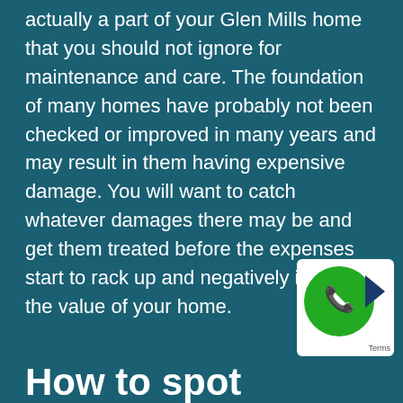actually a part of your Glen Mills home that you should not ignore for maintenance and care. The foundation of many homes have probably not been checked or improved in many years and may result in them having expensive damage. You will want to catch whatever damages there may be and get them treated before the expenses start to rack up and negatively impact the value of your home.
[Figure (logo): Green circle phone icon badge with white telephone symbol and reCAPTCHA-style arrow, on white rounded rectangle background with 'Terms' text]
How to spot